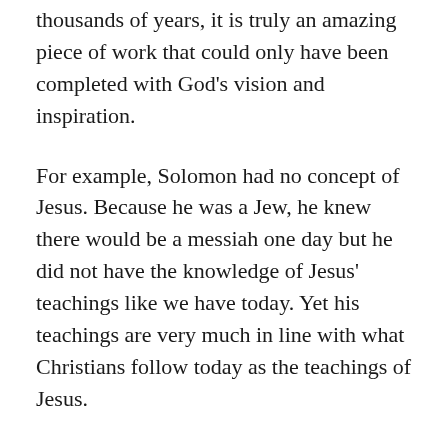thousands of years, it is truly an amazing piece of work that could only have been completed with God's vision and inspiration.
For example, Solomon had no concept of Jesus. Because he was a Jew, he knew there would be a messiah one day but he did not have the knowledge of Jesus' teachings like we have today. Yet his teachings are very much in line with what Christians follow today as the teachings of Jesus.
When you think about the planning that had to take place and the execution of that plan—which required the cooperation of fallible humans, over thousands and thousands of years—how can you not see God at work?